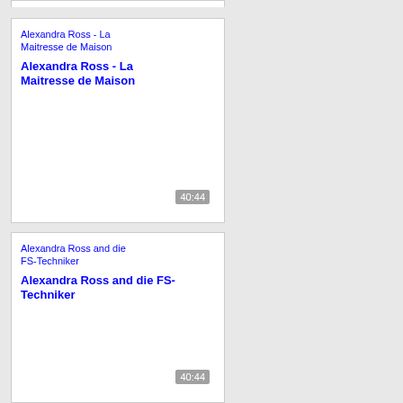[Figure (screenshot): Card 1: Broken image placeholder and title for 'Alexandra Ross - La Maitresse de Maison' with timestamp 40:44]
Alexandra Ross - La Maitresse de Maison
[Figure (screenshot): Card 2: Broken image placeholder and title for 'Alexandra Ross and die FS-Techniker' with timestamp 40:44]
Alexandra Ross and die FS-Techniker